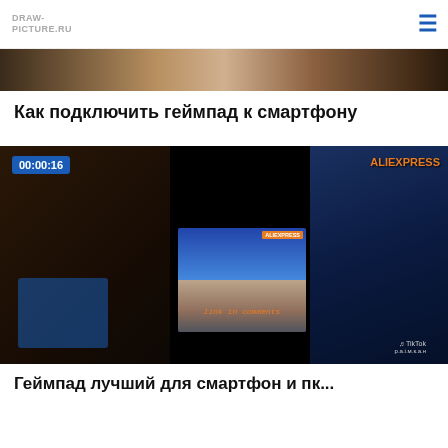DRAW-PICTURE.RU
[Figure (screenshot): Top partial image showing a person, dark brown tones, appears to be top portion cut off]
Как подключить геймпад к смартфону
[Figure (screenshot): Video thumbnail showing a TikTok-style video about connecting a gamepad to a smartphone. Shows timestamp 00:00:16, AliExpress branding, inner video with hands holding a gamepad and tablet, 'link in comments' text, TikTok watermark. Dark background with blue-lit monitor on right.]
Геймпад лучший для смартфон и пк...